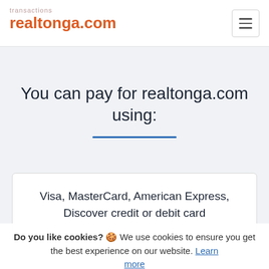transactions realtonga.com
You can pay for realtonga.com using:
Visa, MasterCard, American Express, Discover credit or debit card
Do you like cookies? 🍪 We use cookies to ensure you get the best experience on our website. Learn more
I agree